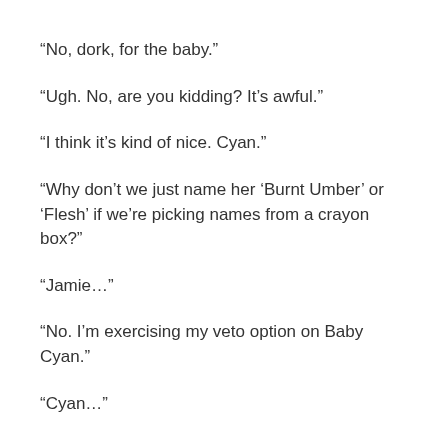“No, dork, for the baby.”
“Ugh. No, are you kidding? It’s awful.”
“I think it’s kind of nice. Cyan.”
“Why don’t we just name her ‘Burnt Umber’ or ‘Flesh’ if we’re picking names from a crayon box?”
“Jamie…”
“No. I’m exercising my veto option on Baby Cyan.”
“Cyan…”